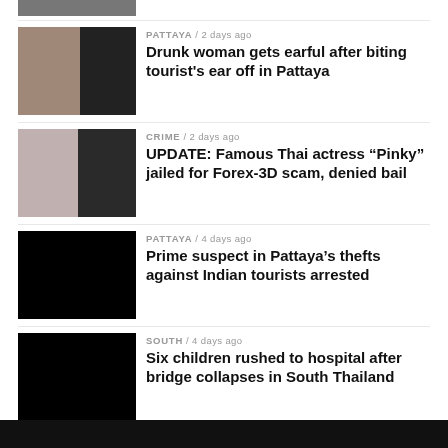[Figure (photo): Partial top strip of dark news article image cropped at top of page]
PATTAYA / 2 days ago
Drunk woman gets earful after biting tourist's ear off in Pattaya
[Figure (photo): Photo showing man with shaved head from behind (left) and dark background (right)]
CRIME / 2 days ago
UPDATE: Famous Thai actress “Pinky” jailed for Forex-3D scam, denied bail
[Figure (photo): Two women with long dark hair, one in lighter setting and one in darker setting]
PATTAYA / 4 days ago
Prime suspect in Pattaya’s thefts against Indian tourists arrested
[Figure (photo): Black/dark image placeholder]
SOUTH / 4 days ago
Six children rushed to hospital after bridge collapses in South Thailand
[Figure (photo): Black/dark image placeholder]